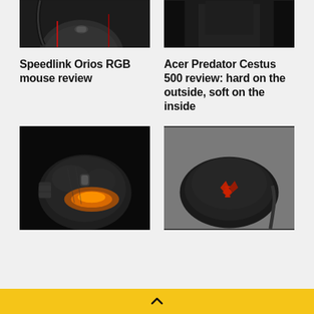[Figure (photo): Top portion of a black gaming mouse with red accents and cable, cropped at top]
[Figure (photo): Person wearing black clothing, cropped partial view]
Speedlink Orios RGB mouse review
Acer Predator Cestus 500 review: hard on the outside, soft on the inside
[Figure (photo): Black gaming mouse with orange/amber RGB lighting on dark background]
[Figure (photo): Black gaming mouse with red logo on gray background]
^